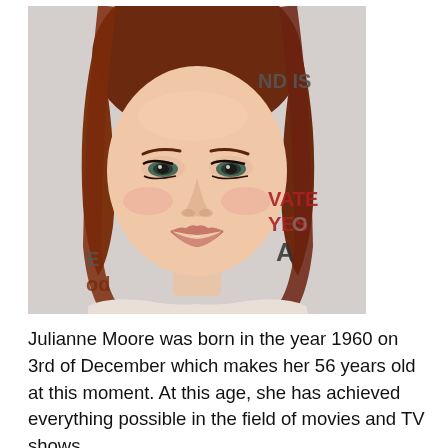[Figure (photo): Portrait photo of Julianne Moore, a woman with long auburn/red hair, smiling at the camera, at what appears to be a red-carpet event. Partial text visible in background: 'ND IS', 'VATE', 'YES', 'A', 'od']
Julianne Moore was born in the year 1960 on 3rd of December which makes her 56 years old at this moment. At this age, she has achieved everything possible in the field of movies and TV shows.